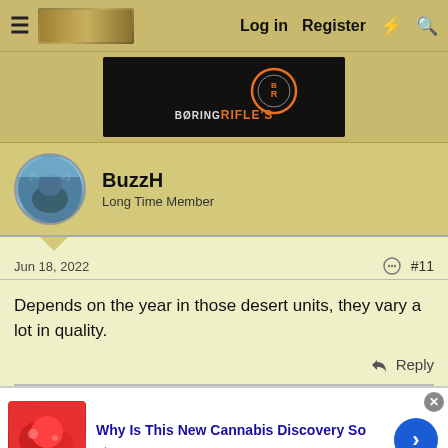Log in   Register
[Figure (logo): BoringRifle's banner advertisement with logo on dark background]
BuzzH
Long Time Member
Jun 18, 2022    #11
Depends on the year in those desert units, they vary a lot in quality.
Reply
[Figure (photo): Advertisement: Why Is This New Cannabis Discovery So — n/a, with image of red fruit/berries]